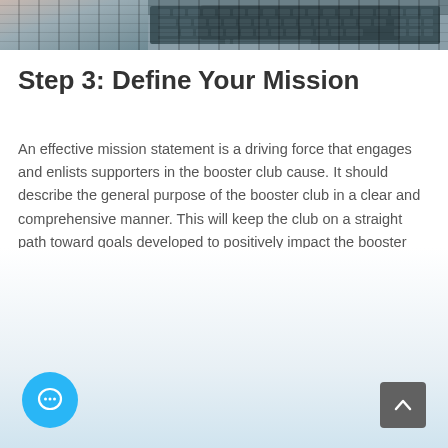[Figure (photo): Partial view of a laptop keyboard from above, muted blue-grey tones]
Step 3: Define Your Mission
An effective mission statement is a driving force that engages and enlists supporters in the booster club cause. It should describe the general purpose of the booster club in a clear and comprehensive manner. This will keep the club on a straight path toward goals developed to positively impact the booster club.